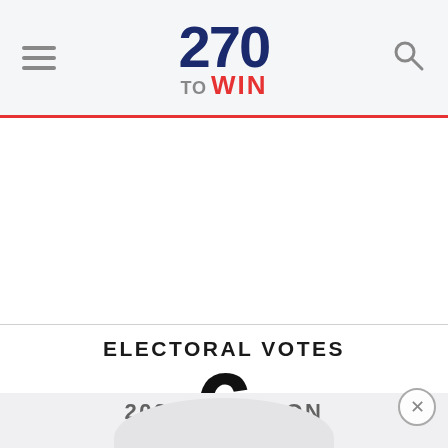270 TO WIN
ELECTORAL VOTES
6
2020 ELECTION